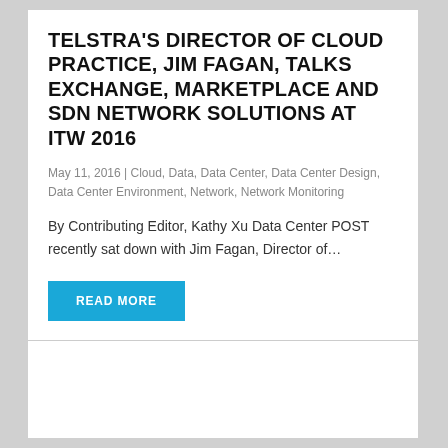TELSTRA'S DIRECTOR OF CLOUD PRACTICE, JIM FAGAN, TALKS EXCHANGE, MARKETPLACE AND SDN NETWORK SOLUTIONS AT ITW 2016
May 11, 2016 | Cloud, Data, Data Center, Data Center Design, Data Center Environment, Network, Network Monitoring
By Contributing Editor, Kathy Xu Data Center POST recently sat down with Jim Fagan, Director of…
READ MORE